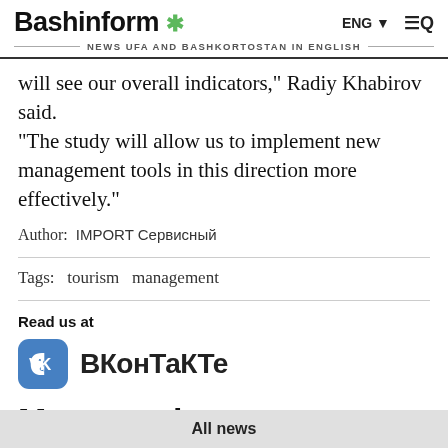Bashinform * NEWS UFA AND BASHKORTOSTAN IN ENGLISH
will see our overall indicators," Radiy Khabirov said. "The study will allow us to implement new management tools in this direction more effectively."
Author:  IMPORT Сервисный
Tags:   tourism   management
Read us at
[Figure (logo): VKontakte logo with blue rounded square VK icon and ВКОНТАКТЕ text]
More stories
All news